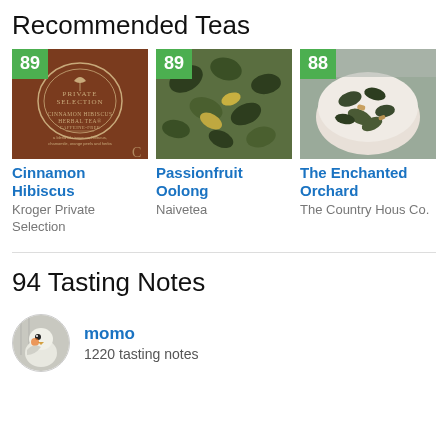Recommended Teas
[Figure (photo): Tea product image: Cinnamon Hibiscus Herbal Tea box (brown), score badge 89]
Cinnamon Hibiscus
Kroger Private Selection
[Figure (photo): Tea product image: Passionfruit Oolong loose leaf tea (dark green rolled leaves), score badge 89]
Passionfruit Oolong
Naivetea
[Figure (photo): Tea product image: The Enchanted Orchard loose leaf tea in white bowl, score badge 88]
The Enchanted Orchard
The Country House Co.
94 Tasting Notes
[Figure (photo): User avatar: bird (cockatiel/parrot) photo]
momo
1220 tasting notes